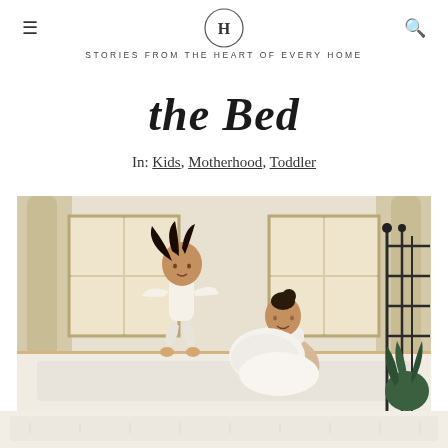H — STORIES FROM THE HEART OF EVERY HOME
the Bed
In: Kids, Motherhood, Toddler
[Figure (photo): A toddler girl jumping on a bed while a mother sitting on the bed holds pillows and watches, in a bright bedroom with curtains and a metal bed frame.]
[Figure (photo): Partial view of white bedding at the bottom of the page.]